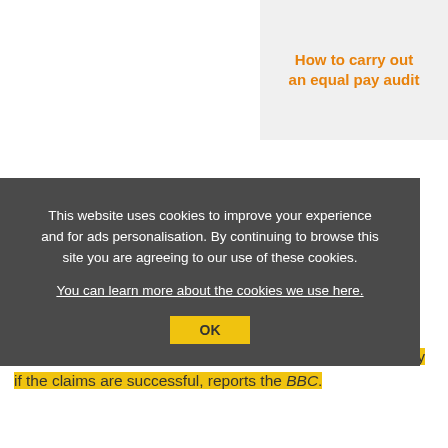How to carry out an equal pay audit
This website uses cookies to improve your experience and for ads personalisation. By continuing to browse this site you are agreeing to our use of these cookies. You can learn more about the cookies we use here.
OK
Lawyers, representing 300 employees at North Lanarkshire Council, have won their case regarding interest on back pay if the claims are successful, reports the BBC.